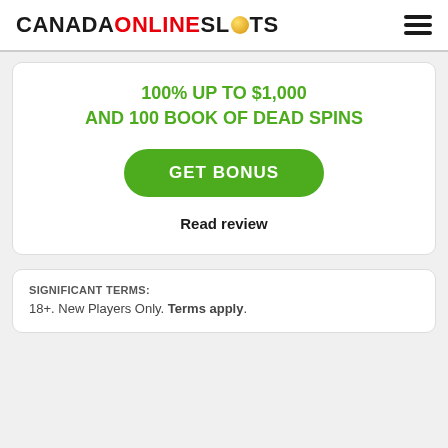CANADAONLINESLOTS
100% UP TO $1,000 AND 100 BOOK OF DEAD SPINS
GET BONUS
Read review
SIGNIFICANT TERMS: 18+. New Players Only. Terms apply.